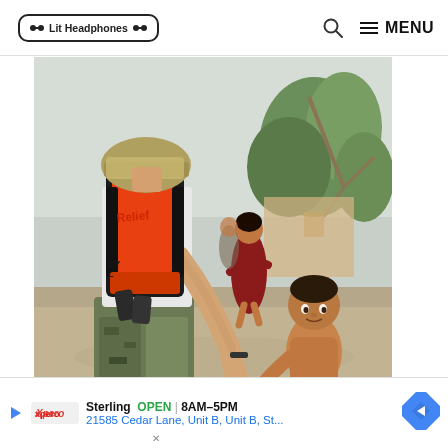Lit Headphones | MENU
[Figure (photo): A relief worker wearing a military-style cap, white tank top, camouflage pants, and a black-and-orange emergency relief backpack holds the hand of a young shirtless child who looks up at the camera. In the background, a girl in a red dress and damaged tropical vegetation are visible, suggesting a disaster relief scene.]
Sterling  OPEN  8AM–5PM  21585 Cedar Lane, Unit B, Unit B, St...